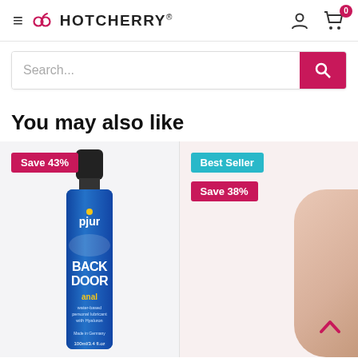HotCherry® — navigation header with hamburger menu, logo, user icon, cart icon (0 items)
Search...
You may also like
[Figure (photo): Product card 1: 'Save 43%' badge, pjur BACK DOOR anal water-based personal lubricant with Hyaluron, 100ml/3.4 fl oz bottle]
[Figure (photo): Product card 2: 'Best Seller' badge and 'Save 38%' badge, partially visible product on right side of page]